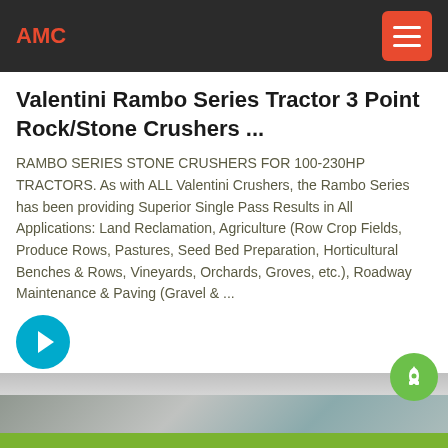AMC
Valentini Rambo Series Tractor 3 Point Rock/Stone Crushers ...
RAMBO SERIES STONE CRUSHERS FOR 100-230HP TRACTORS. As with ALL Valentini Crushers, the Rambo Series has been providing Superior Single Pass Results in All Applications: Land Reclamation, Agriculture (Row Crop Fields, Produce Rows, Pastures, Seed Bed Preparation, Horticultural Benches & Rows, Vineyards, Orchards, Groves, etc.), Roadway Maintenance & Paving (Gravel & ...
[Figure (other): Cyan circular arrow button (read more)]
[Figure (photo): Partial image strip showing machinery/industrial content]
email  onlineChat  message